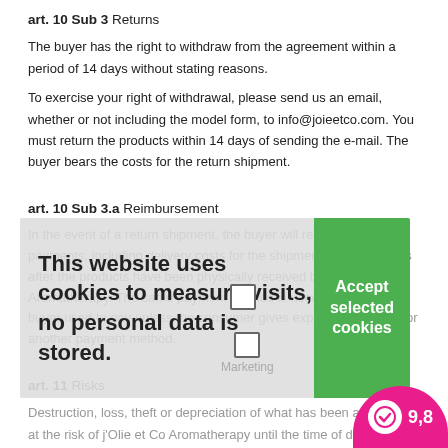art. 10 Sub 3 Returns
The buyer has the right to withdraw from the agreement within a period of 14 days without stating reasons.
To exercise your right of withdrawal, please send us an email, whether or not including the model form, to info@joieetco.com. You must return the products within 14 days of sending the e-mail. The buyer bears the costs for the return shipment.
art. 10 Sub 3.a Reimbursement
In the event of a return shipment, the buyer will receive all payments, including delivery costs for the shipment, within 14 days after the products have been physically received by j'Olie et Co Aromatherapy. The same payment method is used for this as the buyer used to pay unless the consumer gives explicit permission for another payment method.
art. 11 Risks
Destruction, loss, theft or depreciation of what has been agreed is at the risk of j'Olie et Co Aromatherapy until the time of delivery, and at the risk of the Buyer after the time of delivery. The Buyer must inform j'Olie et Co Aromatherapy without delay if the goods are seized or if the property rights of j'Olie et Co Aromatherapy are threatened in any other way. As long as ownership of the goods remains with j'Olie et Co Aromatherapy, j'O